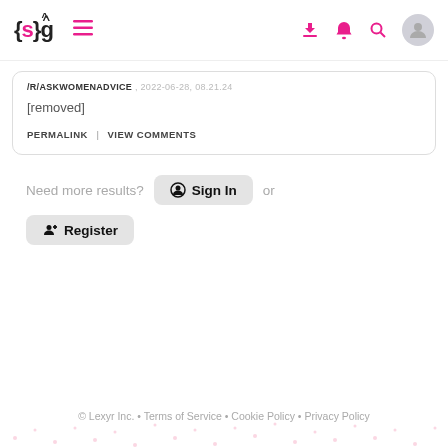{s}g ≡ [download icon] [bell icon] [search icon] [avatar]
/r/ASKWOMENADVICE , 2022-06-28, 08.21.24
[removed]
PERMALINK | VIEW COMMENTS
Need more results? Sign In or Register
© Lexyr Inc. • Terms of Service • Cookie Policy • Privacy Policy